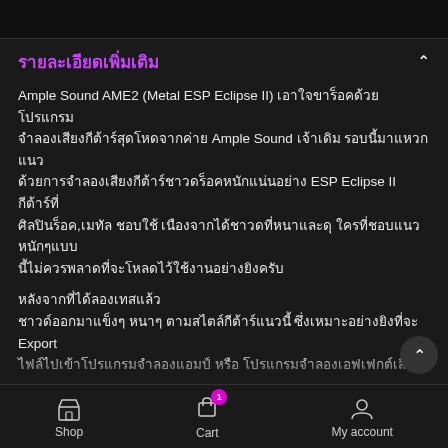รายละเอียดเพิ่มเติม
Ample Sound AME2 (Metal ESP Eclipse II) เอาใจขาร็อคด้วยโปรแกรมจำลองเสียงกีต้าร์สุดโหดจากค่าย Ample Sound เจ้าเดิม รอบนี้มาแหวกแนวด้วยการจำลองเสียงกีต้าร์ชาวดร็อคหนักแน่นอย่าง ESP Eclipse II กีต้าร์ที่ศิลปินร็อค,เมทัล ชอบใช้ เนืองจากได้ชาวดที่หนาและดุ ใครที่ชอบแนวหนักๆแบบนี้ไม่ควรพลาดที่จะโหลดไว้ใช้งานอย่างยิงครับ
หลังจากที่ได้ลองเทสแล้ว
ชาวด์ออกมาแข็งๆ หนาๆ ตามสไตล์กีต้าร์แนวนี้ ซึ่งเหมาะอย่างยิงที่จะ Export ไฟล์ไปเข้าโปรแกรมจำลองแอมป์ หรือ โปรแกรมจำลองเอฟเฟกต์เสียงแตกต่างๆ
และจุดเด่นของเวอร์ชั่นนี้สามารถรอปสายได้ต่ำสุดถึง(ไส่จาก6ไป1) C F...
Shop   Cart   My account